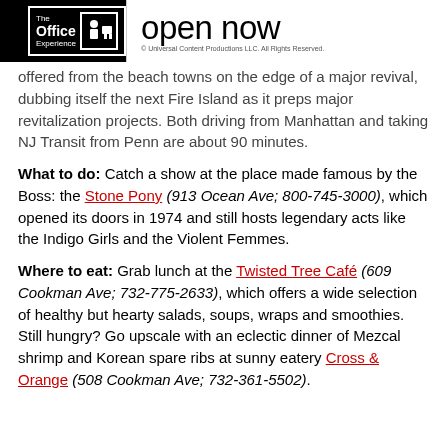The Office Experience | open now | © Universal Content Productions LLC. All Rights Reserved.
offered from the beach towns on the edge of a major revival, dubbing itself the next Fire Island as it preps major revitalization projects. Both driving from Manhattan and taking NJ Transit from Penn are about 90 minutes.
What to do: Catch a show at the place made famous by the Boss: the Stone Pony (913 Ocean Ave; 800-745-3000), which opened its doors in 1974 and still hosts legendary acts like the Indigo Girls and the Violent Femmes.
Where to eat: Grab lunch at the Twisted Tree Café (609 Cookman Ave; 732-775-2633), which offers a wide selection of healthy but hearty salads, soups, wraps and smoothies. Still hungry? Go upscale with an eclectic dinner of Mezcal shrimp and Korean spare ribs at sunny eatery Cross & Orange (508 Cookman Ave; 732-361-5502).